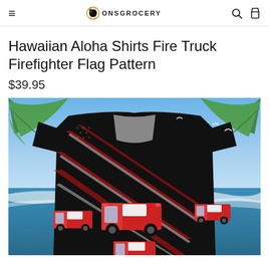≡ ONSGROCERY 🔍 🛒
Hawaiian Aloha Shirts Fire Truck Firefighter Flag Pattern
$39.95
[Figure (photo): Hawaiian aloha shirt with fire truck and firefighter flag pattern displayed on a beach background with palm trees and blue ocean. The shirt features a dark background with diagonal stripes in red, white, and black, American flag elements, and multiple red fire truck graphics.]